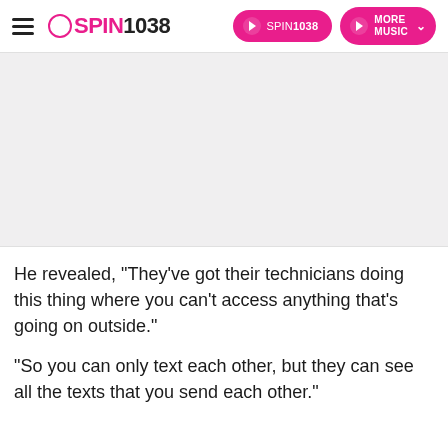SPIN1038
[Figure (photo): Large image placeholder area (pink/grey background), appears to be a video or photo related to the article]
He revealed, "They've got their technicians doing this thing where you can't access anything that's going on outside."
"So you can only text each other, but they can see all the texts that you send each other."